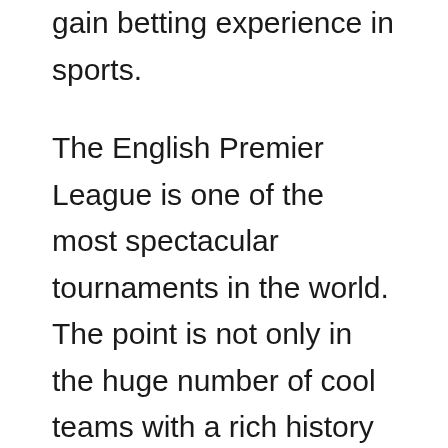gain betting experience in sports.
The English Premier League is one of the most spectacular tournaments in the world. The point is not only in the huge number of cool teams with a rich history but also in the enrichment of the tournament. Even the middle peasants can often afford a high-quality selection of performers. Therefore, everyone should be careful with bets on favorites